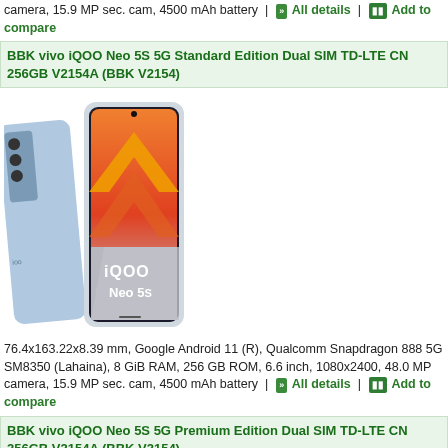camera, 15.9 MP sec. cam, 4500 mAh battery | All details | Add to compare
BBK vivo iQOO Neo 5S 5G Standard Edition Dual SIM TD-LTE CN 256GB V2154A (BBK V2154)
[Figure (photo): BBK vivo iQOO Neo 5S 5G phone product image showing front and back views with iQOO Neo 5S branding]
76.4x163.22x8.39 mm, Google Android 11 (R), Qualcomm Snapdragon 888 5G SM8350 (Lahaina), 8 GiB RAM, 256 GB ROM, 6.6 inch, 1080x2400, 48.0 MP camera, 15.9 MP sec. cam, 4500 mAh battery | All details | Add to compare
BBK vivo iQOO Neo 5S 5G Premium Edition Dual SIM TD-LTE CN 256GB V2154A (BBK V2154)
[Figure (photo): BBK vivo iQOO Neo 5S 5G Premium Edition phone product image (partial view)]